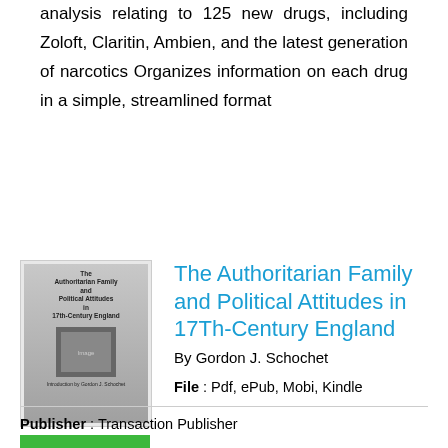analysis relating to 125 new drugs, including Zoloft, Claritin, Ambien, and the latest generation of narcotics Organizes information on each drug in a simple, streamlined format
[Figure (illustration): Book cover thumbnail for 'The Authoritarian Family and Political Attitudes in 17Th-Century England' by Gordon J. Schochet, with a green READ PDF button below]
The Authoritarian Family and Political Attitudes in 17Th-Century England
By Gordon J. Schochet
File : Pdf, ePub, Mobi, Kindle
Publisher : Transaction Publisher